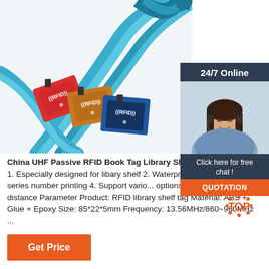[Figure (photo): RFID wristbands/lanyards with red, orange, and blue RFID cards attached to blue straps, shown on white background]
[Figure (photo): 24/7 online chat widget with female customer service agent wearing headset, 'Click here for free chat!' text and QUOTATION button]
China UHF Passive RFID Book Tag Library Shelf Ta... 1. Especially designed for libary shelf 2. Waterproof barcode and series number printing 4. Support vario... options 5. Long reading distance Parameter Product: RFID library shelf tag Material: ABS + Glue + Epoxy Size: 85*22*5mm Frequency: 13.56MHz/860~960MHz ...
[Figure (other): TOP navigation icon with orange dots arranged in circle]
Get Price